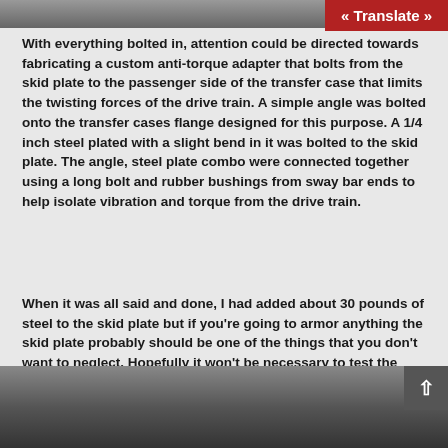[Figure (photo): Top portion of a photo showing mechanical hardware, partially visible at top of page]
With everything bolted in, attention could be directed towards fabricating a custom anti-torque adapter that bolts from the skid plate to the passenger side of the transfer case that limits the twisting forces of the drive train.  A simple angle was bolted onto the transfer cases flange designed for this purpose.  A 1/4 inch steel plated with a slight bend in it was bolted to the skid plate. The angle, steel plate combo were connected together using a long bolt and rubber bushings from sway bar ends to help isolate vibration and torque from the drive train.
When it was all said and done, I had added about 30 pounds of steel to the skid plate but if you're going to armor anything the skid plate probably should be one of the things that you don't want to neglect.   Hopefully it won't be necessary to test the limits of my design but if I ever do, I think the several hours of designing and welding will all be worth it.
[Figure (photo): Bottom portion of photo showing close-up of metal skid plate hardware and welds]